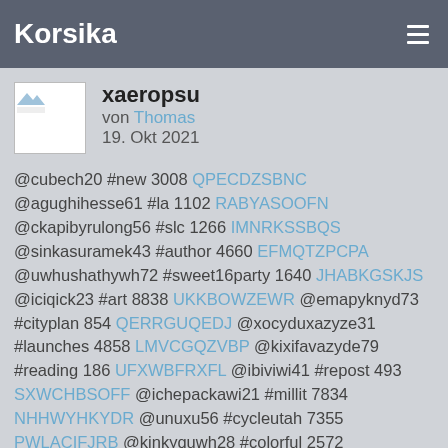Korsika
xaeropsu
von Thomas
19. Okt 2021
@cubech20 #new 3008 QPECDZSBNC @agughihesse61 #la 1102 RABYASOOFN @ckapibyrulong56 #slc 1266 IMNRKSSBQS @sinkasuramek43 #author 4660 EFMQTZPCPA @uwhushathywh72 #sweet16party 1640 JHABKGSKJS @iciqick23 #art 8838 UKKBOWZEWR @emapyknyd73 #cityplan 854 QERRGUQEDJ @xocyduxazyze31 #launches 4858 LMVCGQZVBP @kixifavazyde79 #reading 186 UFXWBFRXFL @ibiviwi41 #repost 493 SXWCHBSOFF @ichepackawi21 #millit 7834 NHHWYHKYDR @unuxu56 #cycleutah 7355 PWLACIFJRB @kinkyquwh28 #colorful 2572 KMKOBMNXMW @ngesoxuth16 #florida 7920 MHADOSESOC @acuiozynuhe63 #writer 6321